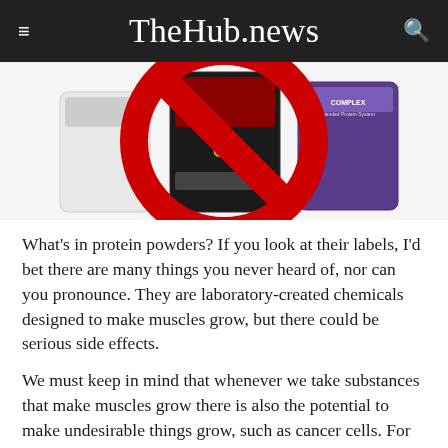TheHub.news
[Figure (photo): Photograph of protein powder supplement containers with a large red prohibition/no symbol (circle with diagonal line) overlaid on top of them. Visible products include a dark red/black tub with 'ON' branding and a purple tub labeled 'COMPLEX Blended Protein System'.]
What's in protein powders? If you look at their labels, I'd bet there are many things you never heard of, nor can you pronounce. They are laboratory-created chemicals designed to make muscles grow, but there could be serious side effects.
We must keep in mind that whenever we take substances that make muscles grow there is also the potential to make undesirable things grow, such as cancer cells. For